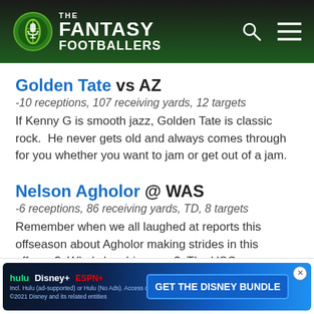The Fantasy Footballers
Golden Tate vs AZ
-10 receptions, 107 receiving yards, 12 targets
If Kenny G is smooth jazz, Golden Tate is classic rock.  He never gets old and always comes through for you whether you want to jam or get out of a jam.
Nelson Agholor @ WAS
-6 receptions, 86 receiving yards, TD, 8 targets
Remember when we all laughed at reports this offseason about Agholor making strides in this offense? Who's laughing now? The USC product...as he...
[Figure (screenshot): GET THE DISNEY BUNDLE advertisement banner with Hulu, Disney+, ESPN+ logos]